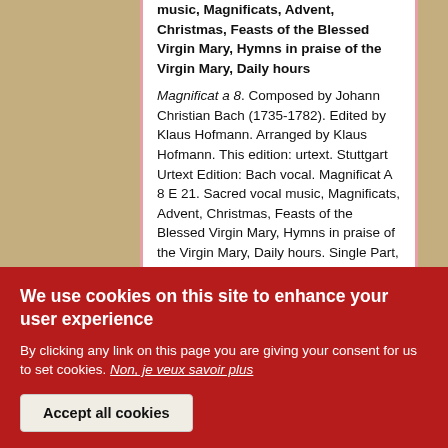music, Magnificats, Advent, Christmas, Feasts of the Blessed Virgin Mary, Hymns in praise of the Virgin Mary, Daily hours
Magnificat a 8. Composed by Johann Christian Bach (1735-1782). Edited by Klaus Hofmann. Arranged by Klaus Hofmann. This edition: urtext. Stuttgart Urtext Edition: Bach vocal. Magnificat A 8 E 21. Sacred vocal music, Magnificats, Advent, Christmas, Feasts of the Blessed Virgin Mary, Hymns in praise of the Virgin Mary, Daily hours. Single Part, Cello/Double Bass. Composed 1758. Warb 21 CW E 21. 4 pages. Duration 6 minutes. Carus Verlag #CV 38.101/14. Published by Carus Verlag (CA.3810114).
Price: $2.00
Magnificat — Domenico Scarlatti
We use cookies on this site to enhance your user experience
By clicking any link on this page you are giving your consent for us to set cookies. Non, je veux savoir plus
Accept all cookies